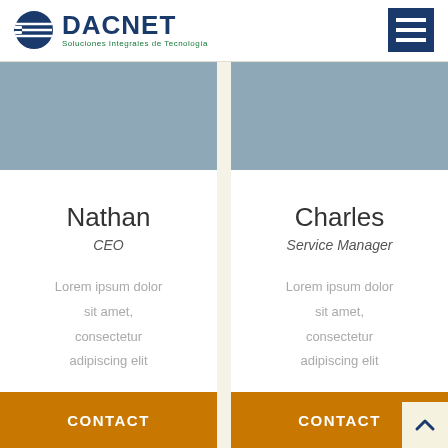[Figure (logo): DACNET logo with globe icon and tagline 'Soluciones Integrales de Tecnologia']
[Figure (other): Hamburger menu icon button in dark navy blue]
[Figure (photo): Gray placeholder photo area for Nathan]
Nathan
CEO
Lorem ipsum dolor sit amet, consectetur adipiscing elit
CONTACT
[Figure (photo): Gray placeholder photo area for Charles]
Charles
Service Manager
Lorem ipsum dolor sit amet, consectetur adipiscing elit
CONTACT